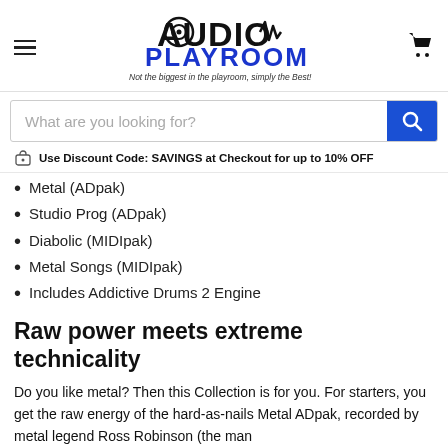Audio Playroom – Not the biggest in the playroom, simply the Best!
What are you looking for?
Use Discount Code: SAVINGS at Checkout for up to 10% OFF
Metal (ADpak)
Studio Prog (ADpak)
Diabolic (MIDIpak)
Metal Songs (MIDIpak)
Includes Addictive Drums 2 Engine
Raw power meets extreme technicality
Do you like metal? Then this Collection is for you. For starters, you get the raw energy of the hard-as-nails Metal ADpak, recorded by metal legend Ross Robinson (the man